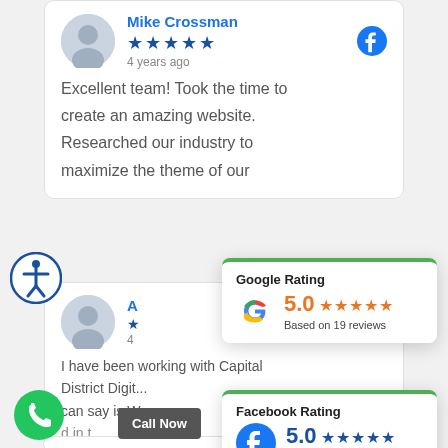Mike Crossman
★★★★★
4 years ago
Excellent team! Took the time to create an amazing website. Researched our industry to maximize the theme of our
[Figure (infographic): Google Rating popup: 5.0 stars, Based on 19 reviews]
[Figure (infographic): Facebook Rating popup: 5.0 stars, Based on 19 reviews]
I have been working with Capital District Digit... can say is W... d in t...
Call Now